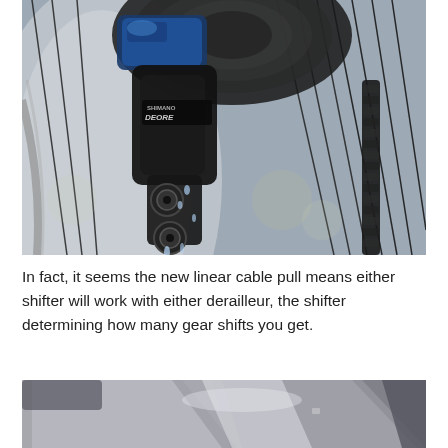[Figure (photo): Close-up photograph of a Shimano Deore rear derailleur on a bicycle, showing the cassette, spokes, chain, and derailleur mechanism with water droplets visible. The derailleur body is black and blue.]
In fact, it seems the new linear cable pull means either shifter will work with either derailleur, the shifter determining how many gear shifts you get.
[Figure (photo): Partial close-up photograph of bicycle frame components, showing silver/grey metallic parts, likely chainstay or frame junction area.]